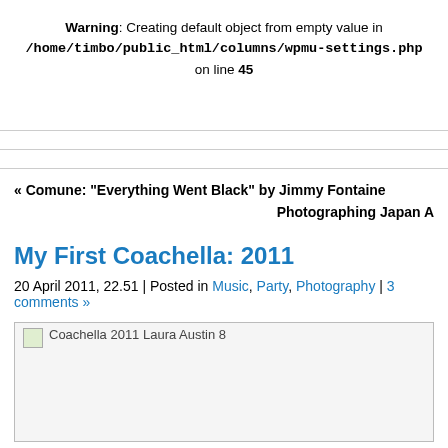Warning: Creating default object from empty value in /home/timbo/public_html/columns/wpmu-settings.php on line 45
My First Coachella: 2011
20 April 2011, 22.51 | Posted in Music, Party, Photography | 3 comments »
[Figure (photo): Coachella 2011 Laura Austin 8 — broken image placeholder]